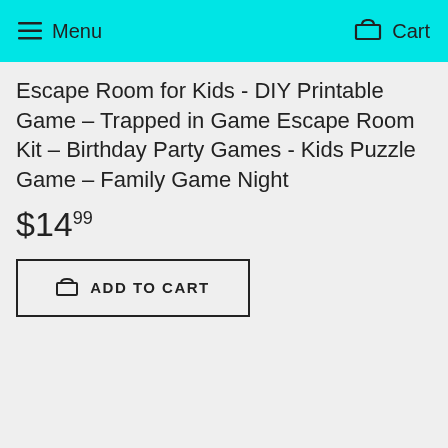Menu   Cart
Escape Room for Kids - DIY Printable Game – Trapped in Game Escape Room Kit – Birthday Party Games - Kids Puzzle Game – Family Game Night
$14.99
ADD TO CART
Transform your house into an unforgettable code-breaking adventure for kids! This printable Trapped in